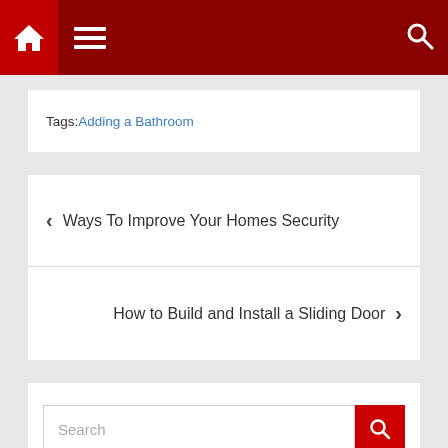Home menu navigation header with search icon
Tags: Adding a Bathroom
‹ Ways To Improve Your Homes Security
How to Build and Install a Sliding Door ›
Search
Recent Posts